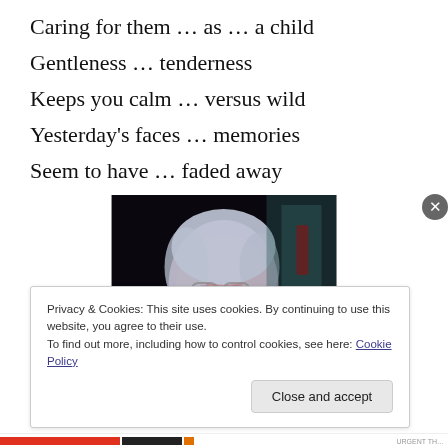Caring for them … as … a child
Gentleness … tenderness
Keeps you calm … versus wild
Yesterday's faces … memories
Seem to have … faded away
[Figure (photo): Elderly woman with white hair and glasses, hand resting on chin, looking contemplatively to the side, photographed in low dark lighting with blue/purple tones]
Privacy & Cookies: This site uses cookies. By continuing to use this website, you agree to their use.
To find out more, including how to control cookies, see here: Cookie Policy